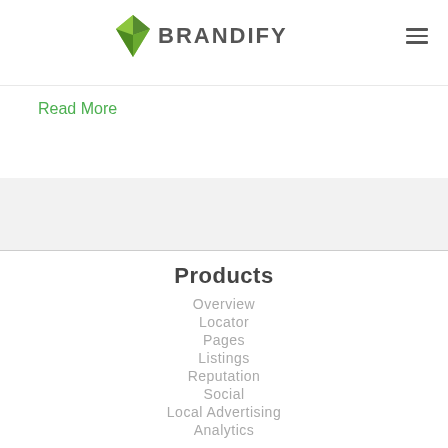BRANDIFY
Read More
Products
Overview
Locator
Pages
Listings
Reputation
Social
Local Advertising
Analytics